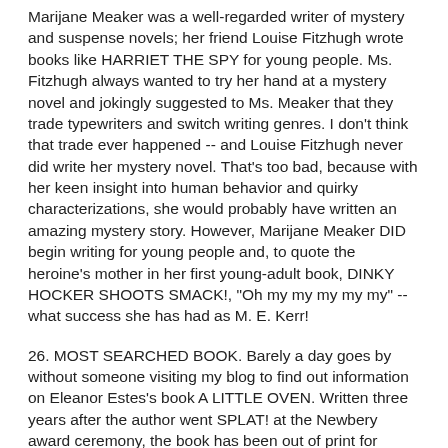Marijane Meaker was a well-regarded writer of mystery and suspense novels; her friend Louise Fitzhugh wrote books like HARRIET THE SPY for young people. Ms. Fitzhugh always wanted to try her hand at a mystery novel and jokingly suggested to Ms. Meaker that they trade typewriters and switch writing genres. I don't think that trade ever happened -- and Louise Fitzhugh never did write her mystery novel. That's too bad, because with her keen insight into human behavior and quirky characterizations, she would probably have written an amazing mystery story. However, Marijane Meaker DID begin writing for young people and, to quote the heroine's mother in her first young-adult book, DINKY HOCKER SHOOTS SMACK!, "Oh my my my my my" -- what success she has had as M. E. Kerr!
26. MOST SEARCHED BOOK. Barely a day goes by without someone visiting my blog to find out information on Eleanor Estes's book A LITTLE OVEN. Written three years after the author went SPLAT! at the Newbery award ceremony, the book has been out of print for decades. But it's obviously well-remembered and well-loved because people are searching for it on the internet every day. Some enterprising